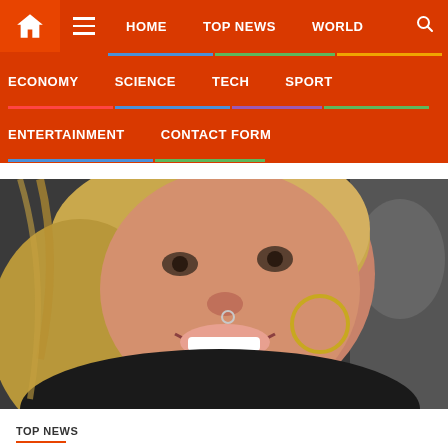HOME | TOP NEWS | WORLD | ECONOMY | SCIENCE | TECH | SPORT | ENTERTAINMENT | CONTACT FORM
[Figure (photo): Smiling blonde woman taking a selfie in a car, wearing a black leather jacket and hoop earrings with a nose ring]
TOP NEWS
Two Cubes